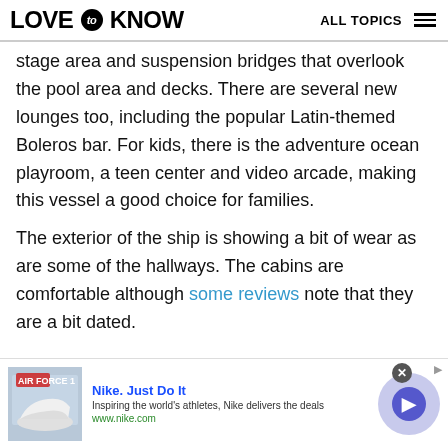LOVE to KNOW   ALL TOPICS
stage area and suspension bridges that overlook the pool area and decks. There are several new lounges too, including the popular Latin-themed Boleros bar. For kids, there is the adventure ocean playroom, a teen center and video arcade, making this vessel a good choice for families.
The exterior of the ship is showing a bit of wear as are some of the hallways. The cabins are comfortable although some reviews note that they are a bit dated.
[Figure (screenshot): Nike advertisement banner showing Nike Air Force 1 shoe image, text 'Nike. Just Do It', 'Inspiring the world's athletes, Nike delivers the deals', 'www.nike.com', with a circular blue play button on the right and a close button.]